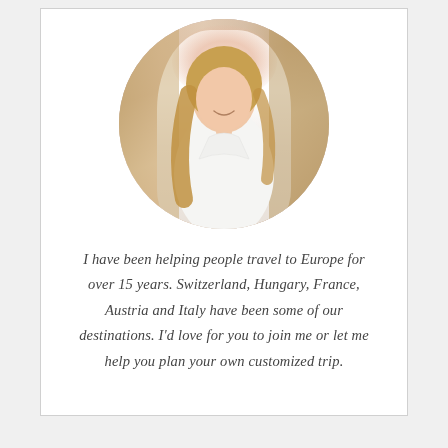[Figure (photo): Circular cropped portrait photo of a smiling woman with long blonde hair wearing a white button-up shirt, standing in a blurred European street background with warm-toned walls.]
I have been helping people travel to Europe for over 15 years. Switzerland, Hungary, France, Austria and Italy have been some of our destinations. I'd love for you to join me or let me help you plan your own customized trip.